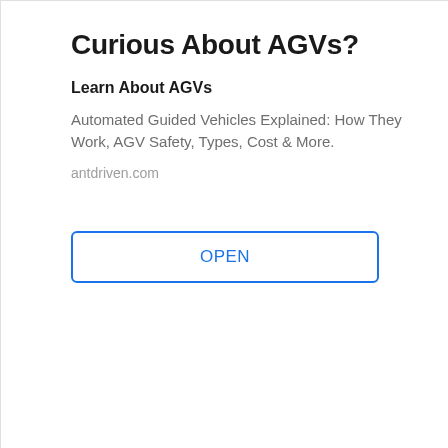Curious About AGVs?
Learn About AGVs
Automated Guided Vehicles Explained: How They Work, AGV Safety, Types, Cost & More.
antdriven.com
OPEN
1  2  Next ▶
Curious About AGVs?
Learn About AGVs